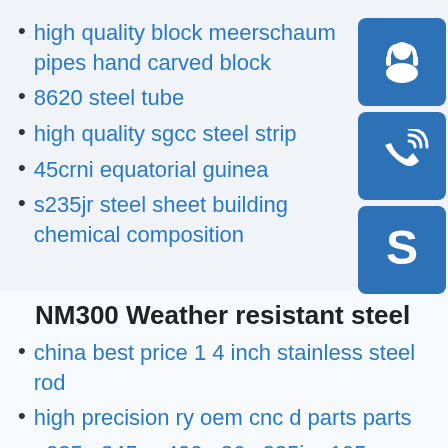high quality block meerschaum pipes hand carved block
8620 steel tube
high quality sgcc steel strip
45crni equatorial guinea
s235jr steel sheet building chemical composition
[Figure (illustration): Three blue square icon buttons: customer service headset icon, phone/call icon, Skype icon]
NM300 Weather resistant steel
china best price 1 4 inch stainless steel rod
high precision ry oem cnc d parts parts
q235 q345 ss400 a36 s235jr q195 carbon steel plate